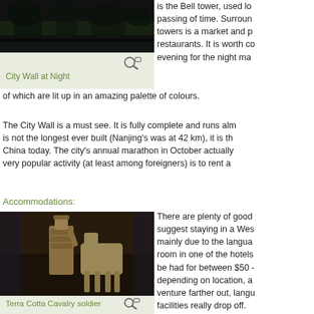[Figure (photo): City Wall at Night - dark nighttime photo of Xian city wall]
City Wall at Night
is the Bell tower, used lo passing of time. Surroun towers is a market and p restaurants. It is worth co evening for the night ma of which are lit up in an amazing palette of colours.
The City Wall is a must see. It is fully complete and runs alm is not the longest ever built (Nanjing's was at 42 km), it is th China today. The city's annual marathon in October actually very popular activity (at least among foreigners) is to rent a
Accommodations:
[Figure (photo): Terra Cotta Cavalry soldier - a terracotta warrior statue with a horse]
Terra Cotta Cavalry soldier
There are plenty of good suggest staying in a Wes mainly due to the langua room in one of the hotels be had for between $50 - depending on location, a venture farther out, langu facilities really drop off.